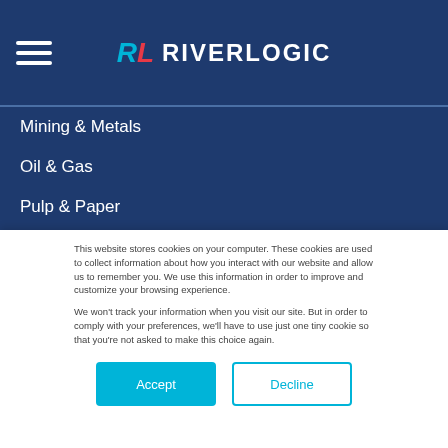[Figure (logo): RiverLogic logo with hamburger menu icon. RL initials in cyan/red italic font followed by RIVERLOGIC in white bold text on dark navy background.]
Mining & Metals
Oil & Gas
Pulp & Paper
Utilities
About Us
This website stores cookies on your computer. These cookies are used to collect information about how you interact with our website and allow us to remember you. We use this information in order to improve and customize your browsing experience.

We won't track your information when you visit our site. But in order to comply with your preferences, we'll have to use just one tiny cookie so that you're not asked to make this choice again.